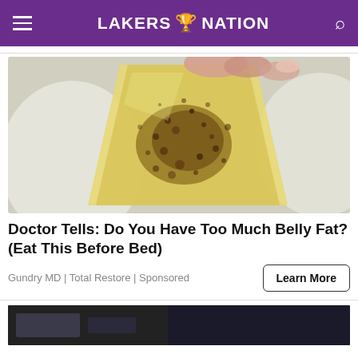LAKERS NATION
[Figure (photo): Close-up photo of a hand holding a translucent food item with golden-brown speckled seasoning, over a white bowl]
Doctor Tells: Do You Have Too Much Belly Fat? (Eat This Before Bed)
Gundry MD | Total Restore | Sponsored
[Figure (photo): Dark thumbnail image at the bottom of the page]